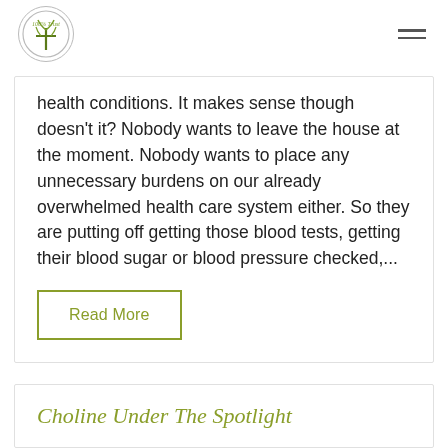[Logo: 100% Trust] [Hamburger menu icon]
health conditions. It makes sense though doesn't it? Nobody wants to leave the house at the moment. Nobody wants to place any unnecessary burdens on our already overwhelmed health care system either. So they are putting off getting those blood tests, getting their blood sugar or blood pressure checked,...
Read More
Choline Under The Spotlight